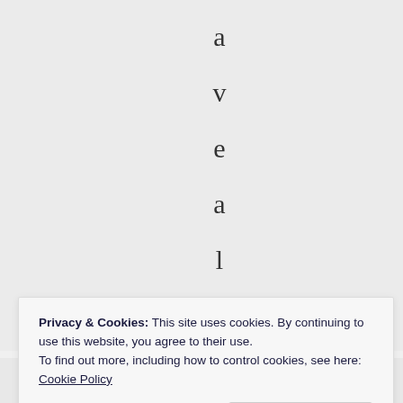a v e a l o v e l y
Privacy & Cookies: This site uses cookies. By continuing to use this website, you agree to their use.
To find out more, including how to control cookies, see here: Cookie Policy
Close and accept
n